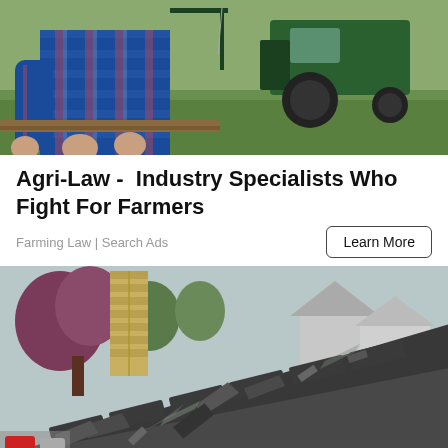[Figure (photo): Photo of a farmer in blue plaid shirt working near a tractor on a green field]
Agri-Law -  Industry Specialists Who Fight For Farmers
Farming Law | Search Ads
Learn More
[Figure (photo): Photo of a damaged roof with broken shingles, a brick chimney, and trees and houses in the background]